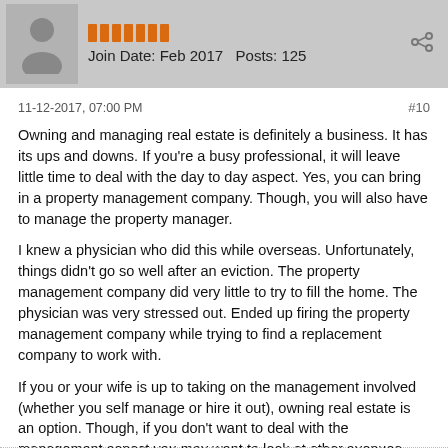Join Date: Feb 2017   Posts: 125
11-12-2017, 07:00 PM
#10
Owning and managing real estate is definitely a business. It has its ups and downs. If you're a busy professional, it will leave little time to deal with the day to day aspect. Yes, you can bring in a property management company. Though, you will also have to manage the property manager.
I knew a physician who did this while overseas. Unfortunately, things didn't go so well after an eviction. The property management company did very little to try to fill the home. The physician was very stressed out. Ended up firing the property management company while trying to find a replacement company to work with.
If you or your wife is up to taking on the management involved (whether you self manage or hire it out), owning real estate is an option. Though, if you don't want to deal with the management aspect you may want to look at other avenues.
Hope that helps!